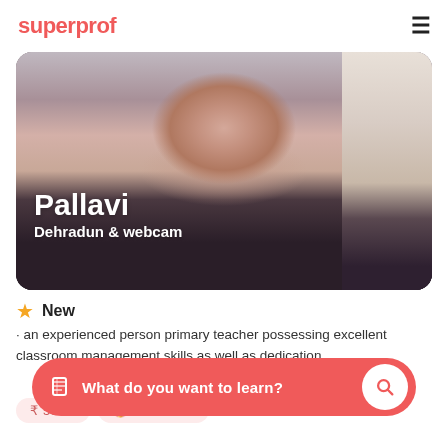superprof
[Figure (photo): Profile photo of Pallavi, a female tutor, showing her face and dark hair, with a room visible in the background. Overlay text shows her name 'Pallavi' and location 'Dehradun & webcam'.]
New
· an experienced person primary teacher possessing excellent classroom management skills as well as dedication.
₹500/h  1st lesson!
What do you want to learn?